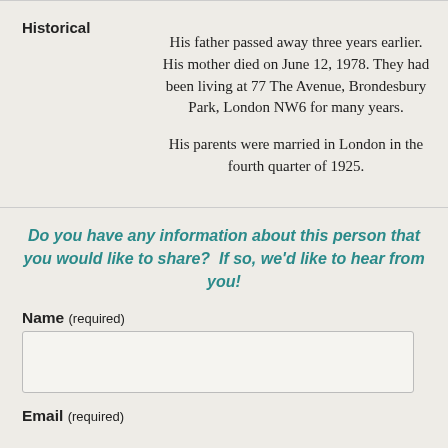| Historical |  |
| --- | --- |
|  | His father passed away three years earlier. His mother died on June 12, 1978. They had been living at 77 The Avenue, Brondesbury Park, London NW6 for many years.

His parents were married in London in the fourth quarter of 1925. |
Do you have any information about this person that you would like to share?  If so, we'd like to hear from you!
Name (required)
Email (required)